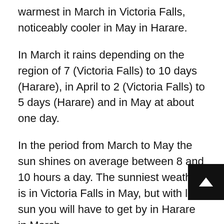warmest in March in Victoria Falls, noticeably cooler in May in Harare.
In March it rains depending on the region of 7 (Victoria Falls) to 10 days (Harare), in April to 2 (Victoria Falls) to 5 days (Harare) and in May at about one day.
In the period from March to May the sun shines on average between 8 and 10 hours a day. The sunniest weather is in Victoria Falls in May, but with less sun you will have to get by in Harare in March.
In March 2003, observers spoke of unprecedented repression in the frequent clashes around the earth. In December 2003, the Commonwealth formally extended its sanction on Zimbabwe.
In March 2004, 70 South African mercenaries were